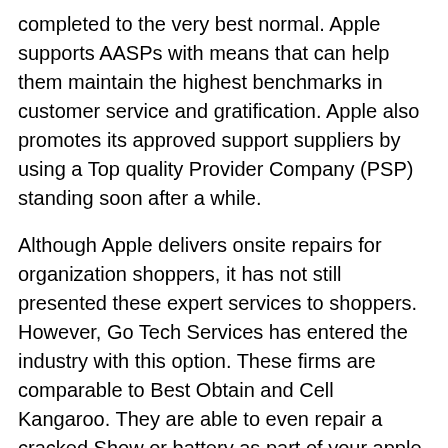completed to the very best normal. Apple supports AASPs with means that can help them maintain the highest benchmarks in customer service and gratification. Apple also promotes its approved support suppliers by using a Top quality Provider Company (PSP) standing soon after a while.
Although Apple delivers onsite repairs for organization shoppers, it has not still presented these expert services to shoppers. However, Go Tech Services has entered the industry with this option. These firms are comparable to Best Obtain and Cell Kangaroo. They are able to even repair a cracked Show or battery as part of your apple iphone. Their Site doesn't contain information on service fees. While Apple claims that onsite repairs are cost-free, Go Tech Services would not give similar-working day appointments, only Monday appointments.
Besides doorstep repairs, Apple also has an “on line restore handbook” portal that may help consumers. This portal gives fix guides for iPhones, iPads and Macbooks. The OSX